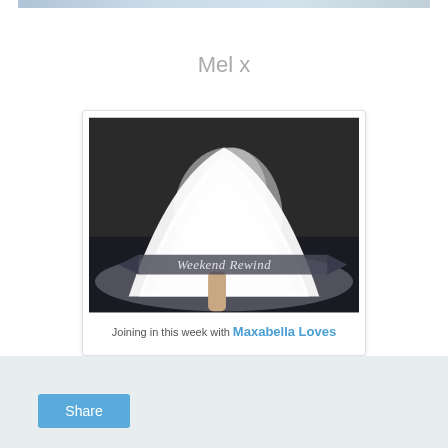[Figure (photo): Cropped top strip of a photo showing blue/grey tones]
Mel x
[Figure (photo): Polaroid-style card with a photo of a child in a white tutu dress spinning, with a banner overlay reading 'Weekend Rewind'. Below the photo: 'Joining in this week with Maxabella Loves']
Share